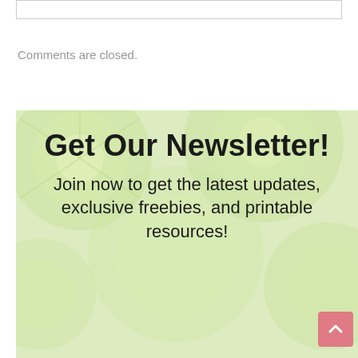Comments are closed.
[Figure (infographic): Newsletter signup banner with green/lime background showing blurred citrus slices. Text reads: 'Get Our Newsletter! Join now to get the latest updates, exclusive freebies, and printable resources!']
[Figure (other): Pink scroll-to-top button with upward arrow chevron in bottom right corner of banner]